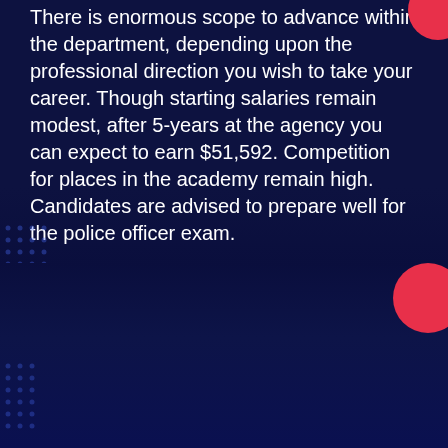There is enormous scope to advance within the department, depending upon the professional direction you wish to take your career. Though starting salaries remain modest, after 5-years at the agency you can expect to earn $51,592. Competition for places in the academy remain high. Candidates are advised to prepare well for the police officer exam.
To pass the Conway Springs test, candidates are expected to have a rounded knowledge of the written exam, physical abilities – particularly the interview component. Candidates have been
ANY REGISTERED COURSE
25% off LIMITED TIME PROMOTION THROUGH AUGUST 24-31
Promotional Code: POLICE25